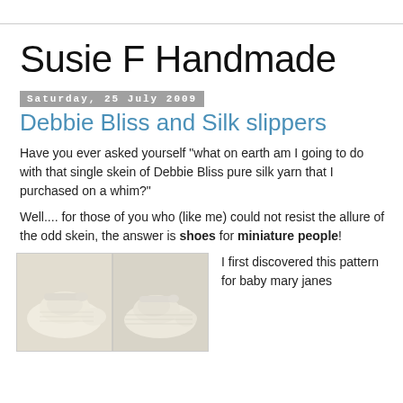Susie F Handmade
Saturday, 25 July 2009
Debbie Bliss and Silk slippers
Have you ever asked yourself "what on earth am I going to do with that single skein of Debbie Bliss pure silk yarn that I purchased on a whim?"
Well.... for those of you who (like me) could not resist the allure of the odd skein, the answer is shoes for miniature people!
[Figure (photo): Two knitted cream/white baby mary jane style silk slippers shown from two angles]
I first discovered this pattern for baby mary janes